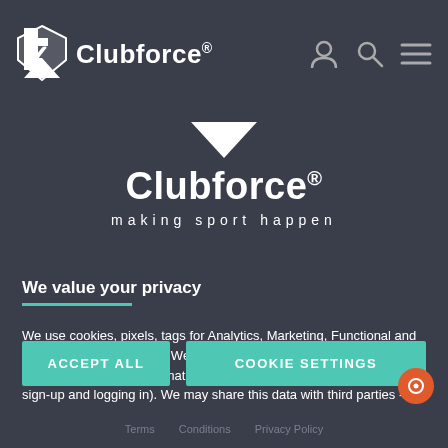Clubforce®
[Figure (logo): Clubforce logo with shield icon and text 'Clubforce® making sport happen']
We value your privacy
We use cookies, pixels, tags for Analytics, Marketing, Functional and Social Content purposes. We use these technologies to collect your device and browser information for required purposes (e.g. security, sign-up and logging in). We may share this data with third parties - including advertising partners like Google for Marketing purposes. By clicking "Accept All", you consent to the use of ALL the cookies. Please visit our for more information.
ACCEPT ALL
COOKIE SETTINGS
Terms  |  Conditions  |  Privacy Policy